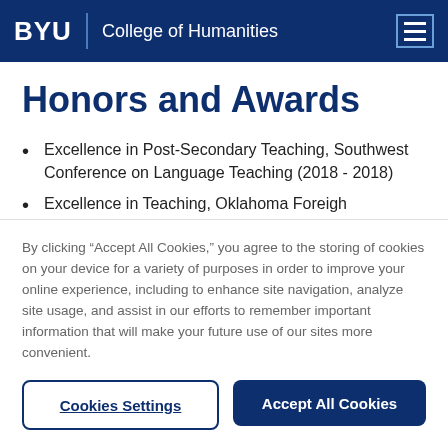BYU | College of Humanities
Honors and Awards
Excellence in Post-Secondary Teaching, Southwest Conference on Language Teaching (2018 - 2018)
Excellence in Teaching, Oklahoma Foreigh
By clicking “Accept All Cookies,” you agree to the storing of cookies on your device for a variety of purposes in order to improve your online experience, including to enhance site navigation, analyze site usage, and assist in our efforts to remember important information that will make your future use of our sites more convenient.
Cookies Settings | Accept All Cookies